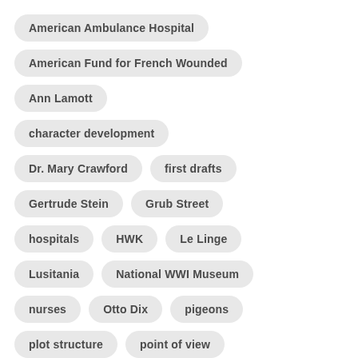American Ambulance Hospital
American Fund for French Wounded
Ann Lamott
character development
Dr. Mary Crawford
first drafts
Gertrude Stein
Grub Street
hospitals
HWK
Le Linge
Lusitania
National WWI Museum
nurses
Otto Dix
pigeons
plot structure
point of view
primary sources
research